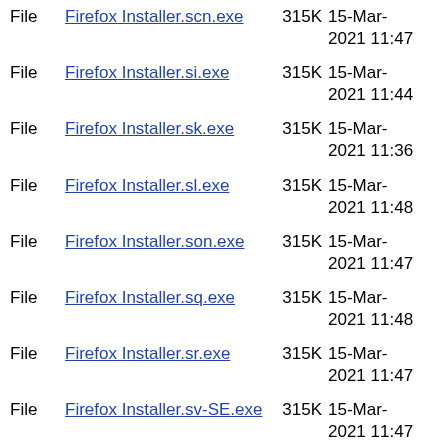File  Firefox Installer.scn.exe  315K  15-Mar-2021 11:47
File  Firefox Installer.si.exe  315K  15-Mar-2021 11:44
File  Firefox Installer.sk.exe  315K  15-Mar-2021 11:36
File  Firefox Installer.sl.exe  315K  15-Mar-2021 11:48
File  Firefox Installer.son.exe  315K  15-Mar-2021 11:47
File  Firefox Installer.sq.exe  315K  15-Mar-2021 11:48
File  Firefox Installer.sr.exe  315K  15-Mar-2021 11:47
File  Firefox Installer.sv-SE.exe  315K  15-Mar-2021 11:47
File  Firefox Installer.szl.exe  315K  15-Mar-2021 11:29
File  Firefox Installer.ta.exe  315K  15-Mar-2021 11:32
File  Firefox Installer.te.exe  315K  15-Mar-2021 11:47
File  (partial row)  315K  15-Mar-